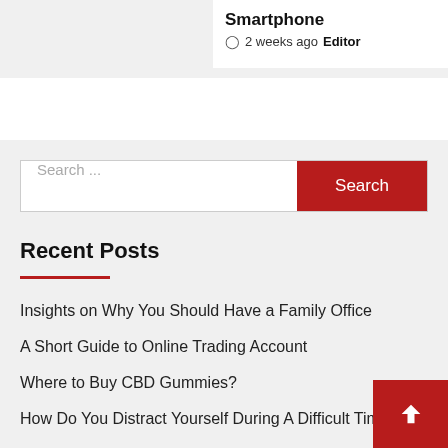Smartphone 2 weeks ago Editor
[Figure (screenshot): White ad banner area]
Search ...
Recent Posts
Insights on Why You Should Have a Family Office
A Short Guide to Online Trading Account
Where to Buy CBD Gummies?
How Do You Distract Yourself During A Difficult Time?
Melbet Review India